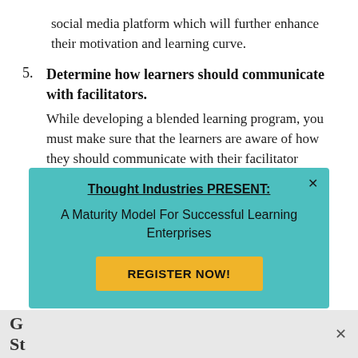social media platform which will further enhance their motivation and learning curve.
5. Determine how learners should communicate with facilitators. While developing a blended learning program, you must make sure that the learners are aware of how they should communicate with their facilitator regarding any question or concern they may have related to the topic. This will make them feel they have a strong support system to rely at times of need. At the same time, you must also determine ways in which you could gather
[Figure (screenshot): Popup banner with teal background. Title: 'Thought Industries PRESENT:' (bold, underlined). Subtitle: 'A Maturity Model For Successful Learning Enterprises'. Yellow button: 'REGISTER NOW!'. Close X in top right.]
G... St...